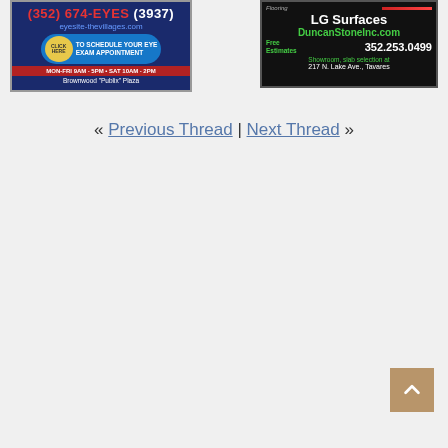[Figure (illustration): Eye site advertisement: phone (352) 674-EYES (3937), eyesite-thevillages.com, Click Here to schedule eye exam appointment, MON-FRI 9AM-5PM SAT 10AM-2PM, Brownwood Publix Plaza]
[Figure (illustration): LG Surfaces DuncanStoneInc.com advertisement: Free Estimates 352.253.0499, Showroom slab selection at 217 N. Lake Ave., Tavares]
« Previous Thread | Next Thread »